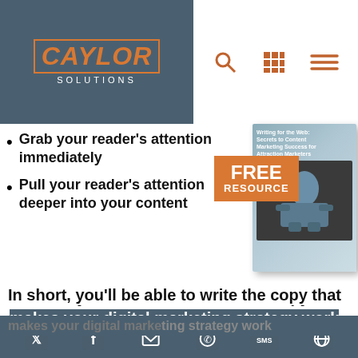[Figure (logo): Caylor Solutions logo in orange on dark blue-grey background]
[Figure (infographic): Navigation icons: search, grid, hamburger menu in orange]
Grab your reader's attention immediately
Pull your reader's attention deeper into your content
[Figure (photo): Free Resource badge with book cover 'Writing for the Web' showing person lying on floor with laptop]
Write so that Google (and other search engines) find you easily
Increase your website's conversion rates
In short, you'll be able to write the copy that makes your digital marketing strategy work for you. Download your copy today!
Social share icons: Twitter, Facebook, Email, WhatsApp, SMS, other